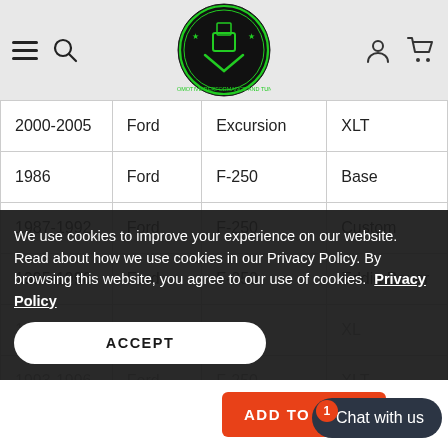[Figure (logo): Automotive Performance and Tuning circular logo with green engine/wrench graphic on black background]
| Year | Make | Model | Submodel |
| --- | --- | --- | --- |
| 2000-2005 | Ford | Excursion | XLT |
| 1986 | Ford | F-250 | Base |
| 1987-1992 | Ford | F-250 | Custom |
| 1995-1996 | Ford | F-250 | Eddie Bauer |
| 1995-1996 | Ford | F-250 | XL |
| 1993-1996 | Ford | F-250 | XLT |
We use cookies to improve your experience on our website. Read about how we use cookies in our Privacy Policy. By browsing this website, you agree to our use of cookies. Privacy Policy
ACCEPT
ADD TO CART
Chat with us